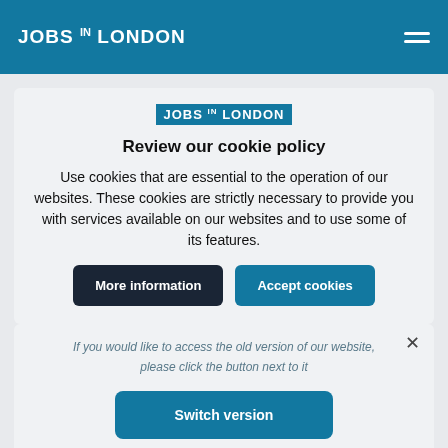JOBS IN LONDON
[Figure (logo): JOBS IN LONDON logo with blue background in cookie consent modal]
Review our cookie policy
Use cookies that are essential to the operation of our websites. These cookies are strictly necessary to provide you with services available on our websites and to use some of its features.
More information | Accept cookies
If you would like to access the old version of our website, please click the button next to it
Switch version